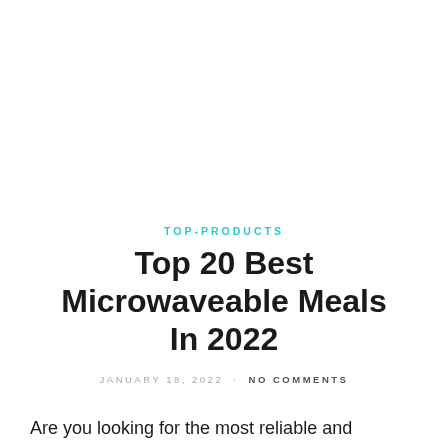TOP-PRODUCTS
Top 20 Best Microwaveable Meals In 2022
JANUARY 18, 2022 · NO COMMENTS
Are you looking for the most reliable and efficient microwaveable meals in the market? If the answer to the